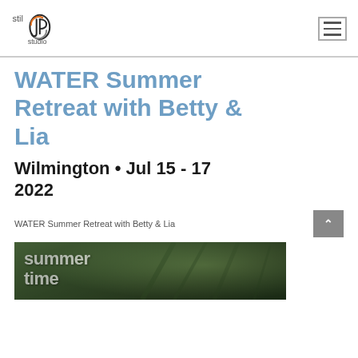stil JP studio [logo] [hamburger menu]
WATER Summer Retreat with Betty & Lia
Wilmington • Jul 15 - 17 2022
WATER Summer Retreat with Betty & Lia
[Figure (photo): Outdoor summer nature scene with text overlay reading 'summer time']